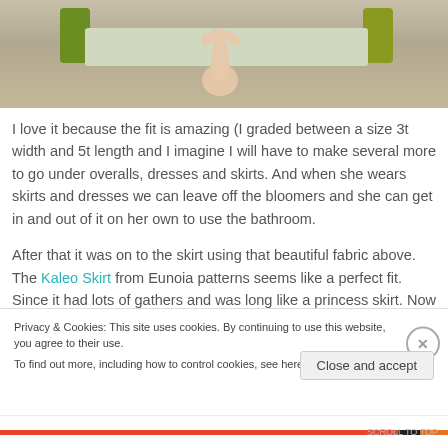[Figure (photo): Partial photo showing a child's bare foot on a green scooter/board, on a concrete surface. Visible green handles/sides of the scooter and a gray platform.]
I love it because the fit is amazing (I graded between a size 3t width and 5t length and I imagine I will have to make several more to go under overalls, dresses and skirts. And when she wears skirts and dresses we can leave off the bloomers and she can get in and out of it on her own to use the bathroom.
After that it was on to the skirt using that beautiful fabric above. The Kaleo Skirt from Eunoia patterns seems like a perfect fit. Since it had lots of gathers and was long like a princess skirt. Now Sweet Pea
Privacy & Cookies: This site uses cookies. By continuing to use this website, you agree to their use.
To find out more, including how to control cookies, see here: Cookie Policy
Close and accept